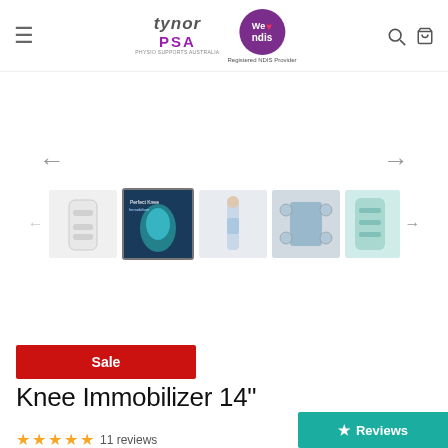Tynor PSA — We Love NDIS — Registered NDIS Provider
[Figure (screenshot): Product image carousel showing 5 thumbnail images of Knee Immobilizer 14" knee brace product with left/right navigation arrows]
Sale
Knee Immobilizer 14"
★ Reviews
11 reviews